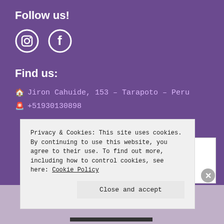Follow us!
[Figure (illustration): Instagram and Facebook social media icons (white circles with Instagram camera and Facebook f logos)]
Find us:
🏠 Jiron Cahuide, 153 - Tarapoto - Peru
📞 +51930130898
Advertisements
Privacy & Cookies: This site uses cookies. By continuing to use this website, you agree to their use. To find out more, including how to control cookies, see here: Cookie Policy
Close and accept